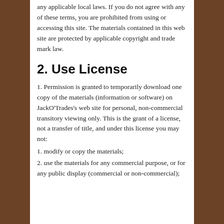any applicable local laws. If you do not agree with any of these terms, you are prohibited from using or accessing this site. The materials contained in this web site are protected by applicable copyright and trade mark law.
2. Use License
1. Permission is granted to temporarily download one copy of the materials (information or software) on JackO'Trades's web site for personal, non-commercial transitory viewing only. This is the grant of a license, not a transfer of title, and under this license you may not:
1. modify or copy the materials;
2. use the materials for any commercial purpose, or for any public display (commercial or non-commercial);